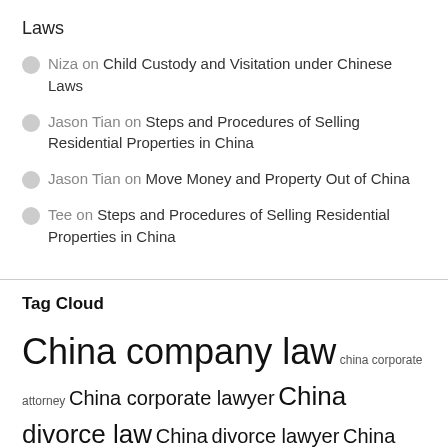Laws
Niza on Child Custody and Visitation under Chinese Laws
Jason Tian on Steps and Procedures of Selling Residential Properties in China
Jason Tian on Move Money and Property Out of China
Tee on Steps and Procedures of Selling Residential Properties in China
Tag Cloud
China company law china corporate attorney China corporate lawyer China divorce law China divorce lawyer China employment law China estate lawyer China family law China inheritance law China inheritance lawyer China property law China real estate attorney China real estate